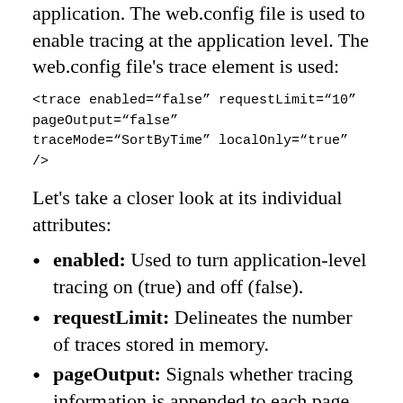application. The web.config file is used to enable tracing at the application level. The web.config file's trace element is used:
<trace enabled="false" requestLimit="10" pageOutput="false"
traceMode="SortByTime" localOnly="true" />
Let's take a closer look at its individual attributes:
enabled: Used to turn application-level tracing on (true) and off (false).
requestLimit: Delineates the number of traces stored in memory.
pageOutput: Signals whether tracing information is appended to each page (true) or not (false). If false is selected, the tracing information may be viewed on the special tracing page, trace.axd